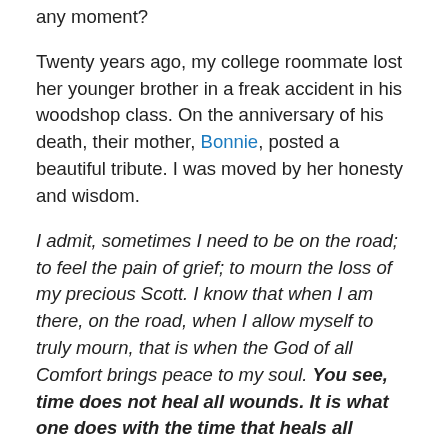any moment?
Twenty years ago, my college roommate lost her younger brother in a freak accident in his woodshop class. On the anniversary of his death, their mother, Bonnie, posted a beautiful tribute. I was moved by her honesty and wisdom.
I admit, sometimes I need to be on the road; to feel the pain of grief; to mourn the loss of my precious Scott. I know that when I am there, on the road, when I allow myself to truly mourn, that is when the God of all Comfort brings peace to my soul. You see, time does not heal all wounds. It is what one does with the time that heals all wounds. Grief boxed up, stuffed down, ignored or denied, only festers and seeks a way out. It is what we do with our grief over time that heals.
You wouldn't be human if you didn't experience grief over